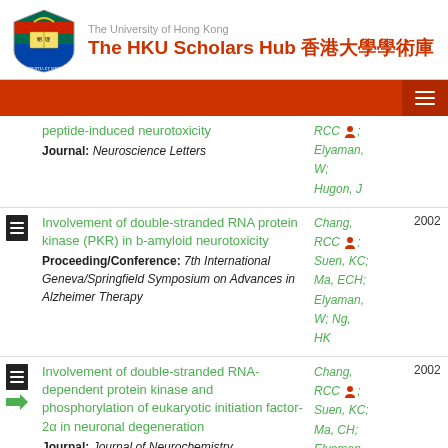The University of Hong Kong — The HKU Scholars Hub 香港大學學術庫
peptide-induced neurotoxicity | Journal: Neuroscience Letters | Authors: Chang, RCC; Elyaman, W; Hugon, J
Involvement of double-stranded RNA protein kinase (PKR) in b-amyloid neurotoxicity | Proceeding/Conference: 7th International Geneva/Springfield Symposium on Advances in Alzheimer Therapy | Authors: Chang, RCC; Suen, KC; Ma, ECH; Elyaman, W; Ng, HK | Year: 2002
Involvement of double-stranded RNA-dependent protein kinase and phosphorylation of eukaryotic initiation factor-2α in neuronal degeneration | Journal: Journal of Neurochemistry | Authors: Chang, RCC; Suen, KC; Ma, CH; Elyaman, W | Year: 2002